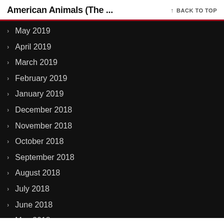American Animals (The ... ↑ BACK TO TOP
May 2019
April 2019
March 2019
February 2019
January 2019
December 2018
November 2018
October 2018
September 2018
August 2018
July 2018
June 2018
May 2018
April 2018
March 2018
February 2018
January 2018
December 2017